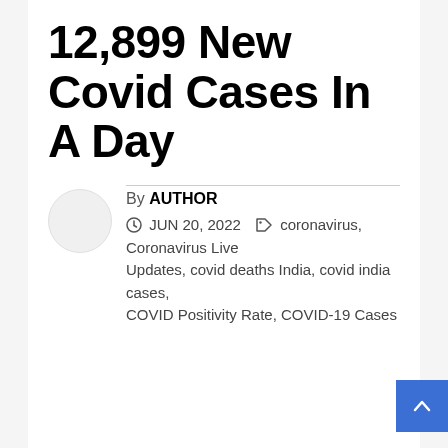12,899 New Covid Cases In A Day
By AUTHOR
JUN 20, 2022  coronavirus, Coronavirus Live Updates, covid deaths India, covid india cases, COVID Positivity Rate, COVID-19 Cases